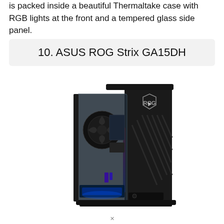is packed inside a beautiful Thermaltake case with RGB lights at the front and a tempered glass side panel.
10. ASUS ROG Strix GA15DH
[Figure (photo): ASUS ROG Strix GA15DH gaming desktop PC tower with tempered glass side panel showing internal components and RGB lighting, black case with ROG logo and diagonal RGB stripe on front.]
✕